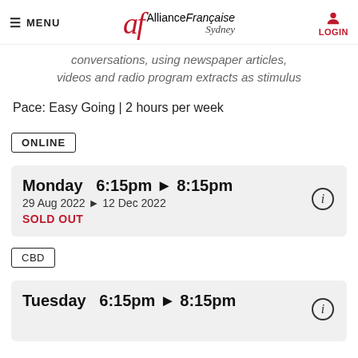MENU | Alliance Française Sydney | LOGIN
conversations, using newspaper articles, videos and radio program extracts as stimulus
Pace: Easy Going | 2 hours per week
ONLINE
Monday  6:15pm ▶ 8:15pm
29 Aug 2022 ▶ 12 Dec 2022
SOLD OUT
CBD
Tuesday  6:15pm ▶ 8:15pm